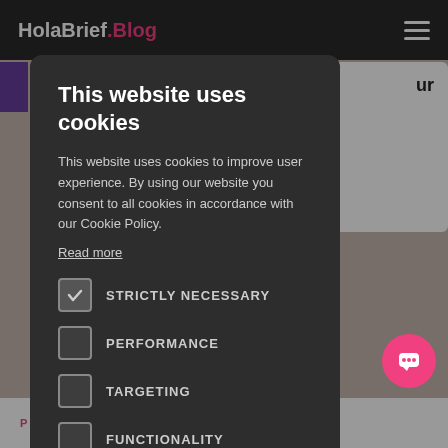HolaBrief.Blog
This website uses cookies
This website uses cookies to improve user experience. By using our website you consent to all cookies in accordance with our Cookie Policy.
Read more
STRICTLY NECESSARY
PERFORMANCE
TARGETING
FUNCTIONALITY
ACCEPT ALL
DECLINE ALL
SHOW DETAILS
PERSONAL DEVELOPMENT